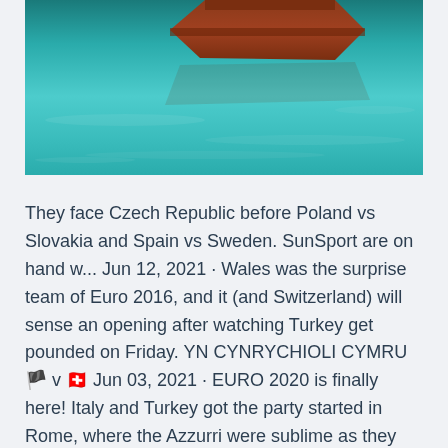[Figure (photo): Partial view of a boat on turquoise/teal water, cropped at the top of the page]
They face Czech Republic before Poland vs Slovakia and Spain vs Sweden. SunSport are on hand w... Jun 12, 2021 · Wales was the surprise team of Euro 2016, and it (and Switzerland) will sense an opening after watching Turkey get pounded on Friday. YN CYNRYCHIOLI CYMRU 🏴 v 🇨🇭 Jun 03, 2021 · EURO 2020 is finally here! Italy and Turkey got the party started in Rome, where the Azzurri were sublime as they cruised to a 3-0 win. Wales are in action today against Switzerland, while England ... Jun 12, 2021 · Euro 2020 features 24 teams - 20 from automatic qualification and the